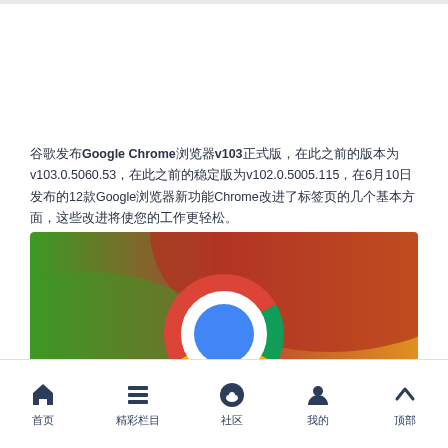谷歌发布Google Chrome浏览器v103正式版，在此之前的版本为v103.0.5060.53，在此之前的稳定版为v102.0.5005.115，在6月10日发布的12款Google浏览器新功能Chrome改进了标签页的几个基本方面，这些改进将使您的工作更轻松。
[Figure (photo): Google Chrome browser logo on a gradient background (green, red, yellow)]
首页  精彩栏目  社区  我的  顶部